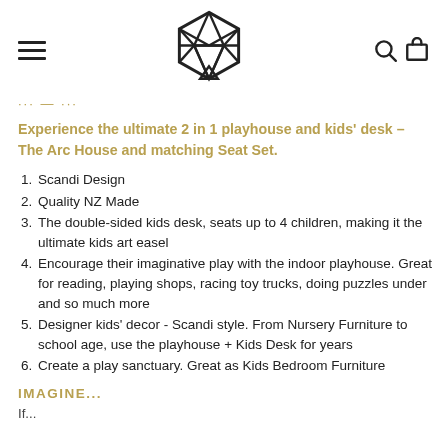Navigation header with hamburger menu, geometric logo, search and cart icons
... — ...
Experience the ultimate 2 in 1 playhouse and kids' desk – The Arc House and matching Seat Set.
Scandi Design
Quality NZ Made
The double-sided kids desk, seats up to 4 children, making it the ultimate kids art easel
Encourage their imaginative play with the indoor playhouse. Great for reading, playing shops, racing toy trucks, doing puzzles under and so much more
Designer kids' decor - Scandi style. From Nursery Furniture to school age, use the playhouse + Kids Desk for years
Create a play sanctuary. Great as Kids Bedroom Furniture
IMAGINE...
If...